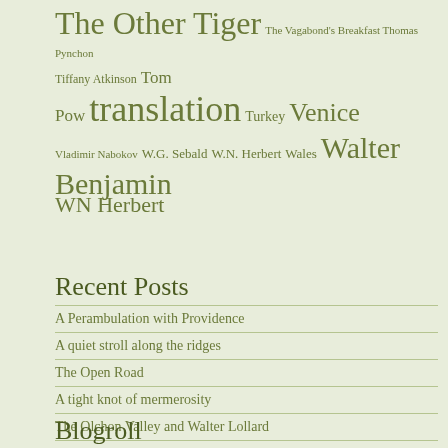The Other Tiger The Vagabond's Breakfast Thomas Pynchon
Tiffany Atkinson Tom Pow translation Turkey Venice
Vladimir Nabokov W.G. Sebald W.N. Herbert Wales Walter Benjamin WN Herbert
Recent Posts
A Perambulation with Providence
A quiet stroll along the ridges
The Open Road
A tight knot of mermerosity
The Olchon Valley and Walter Lollard
Blogroll